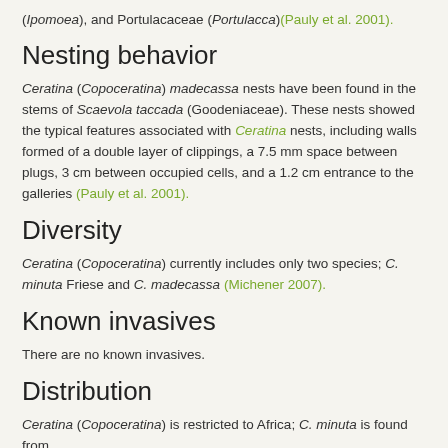(Ipomoea), and Portulacaceae (Portulacca)(Pauly et al. 2001).
Nesting behavior
Ceratina (Copoceratina) madecassa nests have been found in the stems of Scaevola taccada (Goodeniaceae). These nests showed the typical features associated with Ceratina nests, including walls formed of a double layer of clippings, a 7.5 mm space between plugs, 3 cm between occupied cells, and a 1.2 cm entrance to the galleries (Pauly et al. 2001).
Diversity
Ceratina (Copoceratina) currently includes only two species; C. minuta Friese and C. madecassa (Michener 2007).
Known invasives
There are no known invasives.
Distribution
Ceratina (Copoceratina) is restricted to Africa; C. minuta is found from